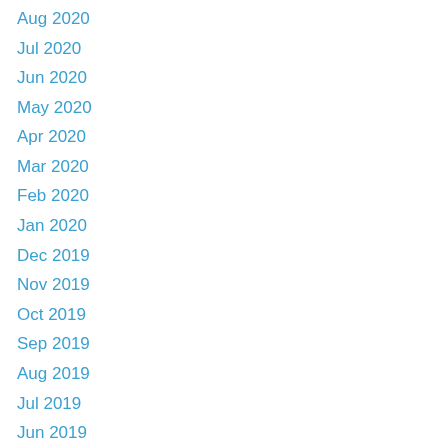Aug 2020
Jul 2020
Jun 2020
May 2020
Apr 2020
Mar 2020
Feb 2020
Jan 2020
Dec 2019
Nov 2019
Oct 2019
Sep 2019
Aug 2019
Jul 2019
Jun 2019
May 2019
Apr 2019
Mar 2019
Feb 2019
Jan 2019